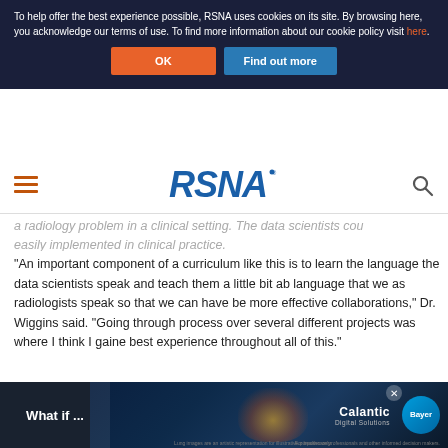To help offer the best experience possible, RSNA uses cookies on its site. By browsing here, you acknowledge our terms of use. To find more information about our cookie policy visit here.
[Figure (screenshot): Cookie consent banner with OK and Find out more buttons on dark navy background]
[Figure (logo): RSNA logo in blue with navigation hamburger menu and search icon]
a radiology problem in a clinical setting. The data scientists cou easily implemented in clinical practice.
“An important component of a curriculum like this is to learn the language the data scientists speak and teach them a little bit ab language that we as radiologists speak so that we can have be more effective collaborations,” Dr. Wiggins said. “Going through process over several different projects was where I think I gaine best experience throughout all of this.”
Dr. Wiggins credited Katherine Andriole, Ph.D., director of Rese S… rosenthl M…
[Figure (screenshot): Calantic and Bayer advertisement overlay at bottom with brain scan background image and What if... text]